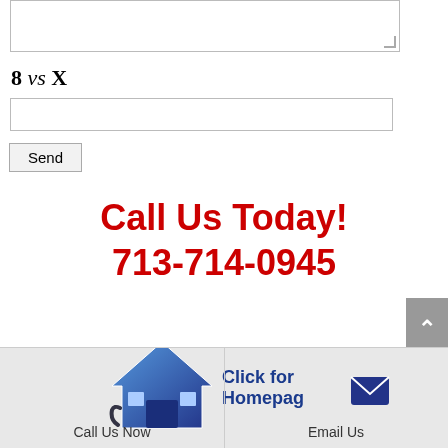[Figure (screenshot): Textarea input field at top of page]
[Figure (screenshot): Text input field for captcha answer]
[Figure (screenshot): Send button]
Call Us Today!
713-714-0945
[Figure (screenshot): Scroll to top button (gray arrow up)]
[Figure (infographic): Footer bar with house icon, Click for Homepage link, Call Us Now and Email Us options with icons]